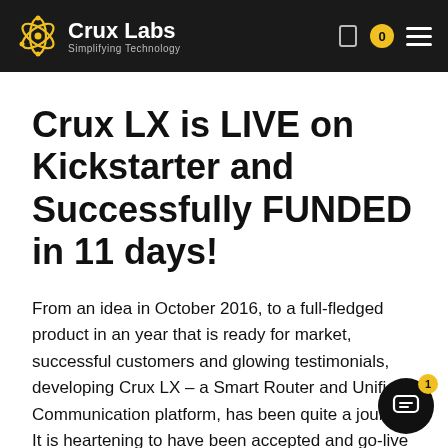Crux Labs — Simplifying Technology
Crux LX is LIVE on Kickstarter and Successfully FUNDED in 11 days!
From an idea in October 2016, to a full-fledged product in an year that is ready for market, successful customers and glowing testimonials, developing Crux LX – a Smart Router and Unified Communication platform, has been quite a journey. It is heartening to have been accepted and go-live on KickStarter! It is a milestone of sorts and couldn't have been possible without your support.